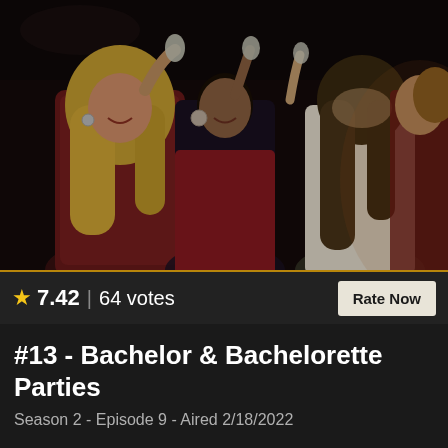[Figure (photo): Women at a party/club scene, wearing red and white outfits, holding up shot glasses and toasting, in what appears to be a limousine or dark venue interior]
★ 7.42 | 64 votes
Rate Now
#13 - Bachelor & Bachelorette Parties
Season 2 - Episode 9 - Aired 2/18/2022